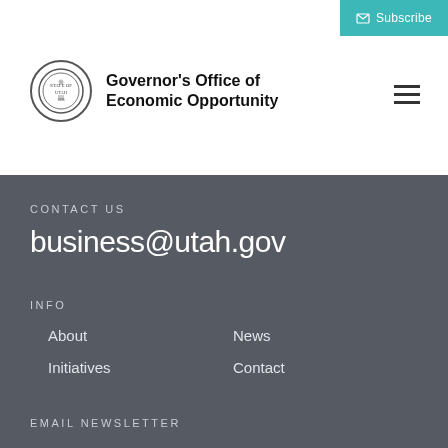[Figure (logo): Governor's Office of Economic Opportunity seal/logo with circular emblem]
Governor's Office of Economic Opportunity
Subscribe
CONTACT US
business@utah.gov
INFO
About
News
Initiatives
Contact
EMAIL NEWSLETTER